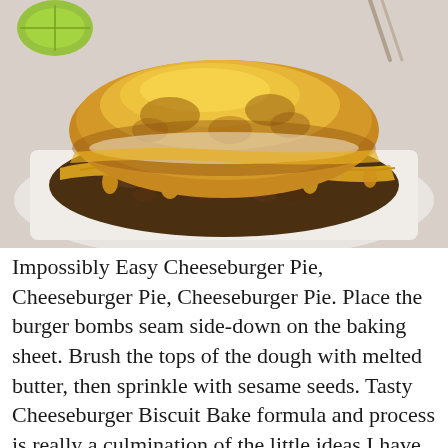[Figure (photo): A close-up photo of a cheeseburger pie or biscuit bake dish on a white plate — seasoned ground beef topped with melted yellow cheese and a golden-brown biscuit topping, with a fork visible in the background and a lime wedge in the upper left corner.]
Impossibly Easy Cheeseburger Pie, Cheeseburger Pie, Cheeseburger Pie. Place the burger bombs seam side-down on the baking sheet. Brush the tops of the dough with melted butter, then sprinkle with sesame seeds. Tasty Cheeseburger Biscuit Bake formula and process is really a culmination of the little ideas I have discovered in the last 6 years. Cheeseburger Biscuit Bake